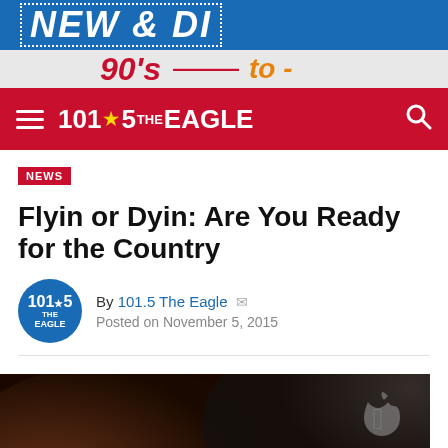[Figure (screenshot): Advertisement banner: blue top section with 'NEW & DI' text, grey bottom with '90's — to -' text in red and orange]
101.5 THE EAGLE — navigation bar with hamburger menu and search icon
NEWS
Flyin or Dyin: Are You Ready for the Country
By 101.5 The Eagle
Posted on November 5, 2015
[Figure (screenshot): Dark blurred background showing an Apple device. In the foreground a white speech bubble showing 'Hank W. [cowboy hat emoji]' and 'ARE YOU READY FOR THE COUNTRY?']